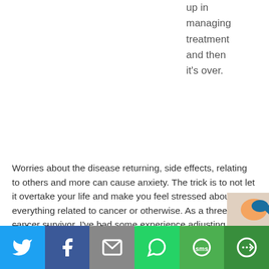up in managing treatment and then it's over.
Worries about the disease returning, side effects, relating to others and more can cause anxiety. The trick is to not let it overtake your life and make you feel stressed about everything related to cancer or otherwise. As a three-time cancer survivor, I've had some experience adjusting to life after treatment so I wanted to share some tips on managing post-cancer anxiety.
5 tips for managing post-cancer anxiety
[Figure (infographic): Social media share bar with icons for Twitter, Facebook, Email, WhatsApp, SMS, and More]